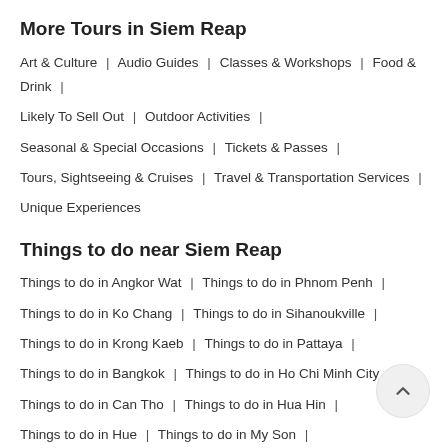More Tours in Siem Reap
Art & Culture | Audio Guides | Classes & Workshops | Food & Drink | Likely To Sell Out | Outdoor Activities | Seasonal & Special Occasions | Tickets & Passes | Tours, Sightseeing & Cruises | Travel & Transportation Services | Unique Experiences
Things to do near Siem Reap
Things to do in Angkor Wat | Things to do in Phnom Penh | Things to do in Ko Chang | Things to do in Sihanoukville | Things to do in Krong Kaeb | Things to do in Pattaya | Things to do in Bangkok | Things to do in Ho Chi Minh City | Things to do in Can Tho | Things to do in Hua Hin | Things to do in Hue | Things to do in My Son |